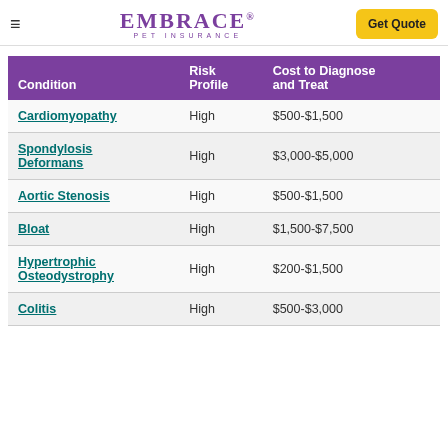EMBRACE PET INSURANCE | Get Quote
| Condition | Risk Profile | Cost to Diagnose and Treat |
| --- | --- | --- |
| Cardiomyopathy | High | $500-$1,500 |
| Spondylosis Deformans | High | $3,000-$5,000 |
| Aortic Stenosis | High | $500-$1,500 |
| Bloat | High | $1,500-$7,500 |
| Hypertrophic Osteodystrophy | High | $200-$1,500 |
| Colitis | High | $500-$3,000 |